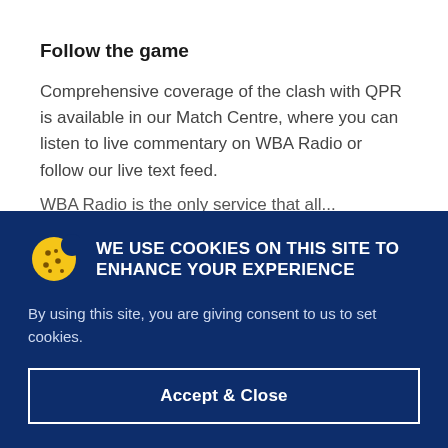Follow the game
Comprehensive coverage of the clash with QPR is available in our Match Centre, where you can listen to live commentary on WBA Radio or follow our live text feed.
WBA Radio is the...
WE USE COOKIES ON THIS SITE TO ENHANCE YOUR EXPERIENCE
By using this site, you are giving consent to us to set cookies.
Accept & Close